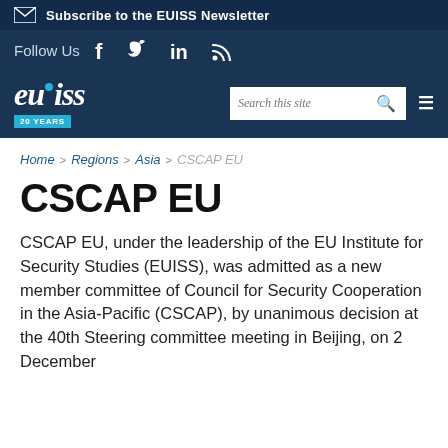Subscribe to the EUISS Newsletter
Follow Us [social icons: Facebook, Twitter, LinkedIn, RSS]
[Figure (logo): EUISS logo with 20 YEARS badge, search bar, and hamburger menu]
Home > Regions > Asia > CSCAP EU
CSCAP EU
CSCAP EU, under the leadership of the EU Institute for Security Studies (EUISS), was admitted as a new member committee of Council for Security Cooperation in the Asia-Pacific (CSCAP), by unanimous decision at the 40th Steering committee meeting in Beijing, on 2 December